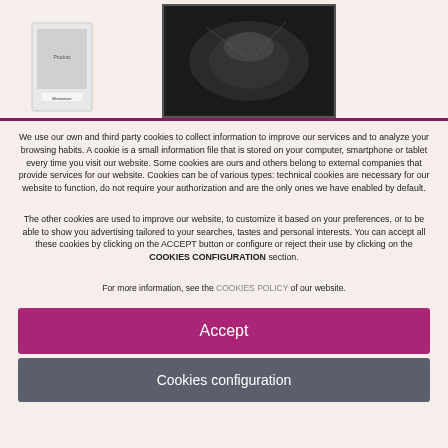[Figure (photo): Top section with two product images partially visible: a small packaged product on the left and a dark-toned product on the right, separated by a magenta/purple horizontal bar]
We use our own and third party cookies to collect information to improve our services and to analyze your browsing habits. A cookie is a small information file that is stored on your computer, smartphone or tablet every time you visit our website. Some cookies are ours and others belong to external companies that provide services for our website. Cookies can be of various types: technical cookies are necessary for our website to function, do not require your authorization and are the only ones we have enabled by default.
The other cookies are used to improve our website, to customize it based on your preferences, or to be able to show you advertising tailored to your searches, tastes and personal interests. You can accept all these cookies by clicking on the ACCEPT button or configure or reject their use by clicking on the COOKIES CONFIGURATION section.
For more information, see the COOKIES POLICY of our website.
Accept
Cookies configuration